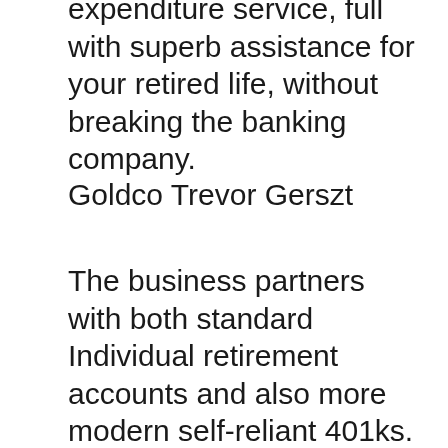expenditure service, full with superb assistance for your retired life, without breaking the banking company.
Goldco Trevor Gerszt
The business partners with both standard Individual retirement accounts and also more modern self-reliant 401ks. If you intend to result in your pension without putting in the time to open one, you can easily roll over your properties directly into your Goldco Committing IRA. You may also benefit from the business's digital purchase services, featuring its own automated rollover to your existing IRA profile when you make a deposit or withdrawal. You are actually not restricted to a particular form of financial investment,